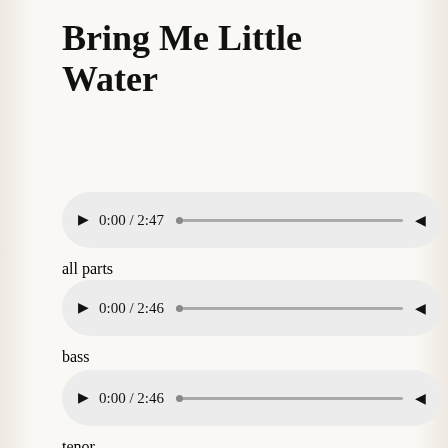Bring Me Little Water
[Figure (other): Audio player showing 0:00 / 2:47 with seek bar and volume button]
all parts
[Figure (other): Audio player showing 0:00 / 2:46 with seek bar and volume button]
bass
[Figure (other): Audio player showing 0:00 / 2:46 with seek bar and volume button]
tenor
[Figure (other): Audio player showing 0:00 / 2:46 with seek bar and volume button (partially visible)]